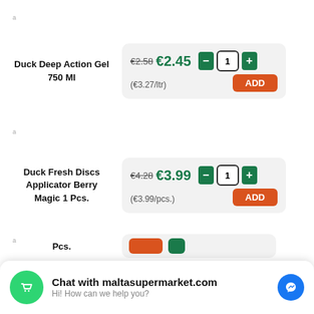Duck Deep Action Gel 750 Ml
€2.58 €2.45 - 1 + (€3.27/ltr) ADD
Duck Fresh Discs Applicator Berry Magic 1 Pcs.
€4.28 €3.99 - 1 + (€3.99/pcs.) ADD
Chat with maltasupermarket.com
Hi! How can we help you?